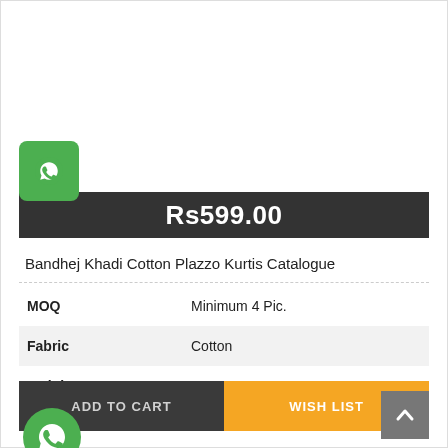[Figure (other): WhatsApp floating button (green square with WhatsApp icon)]
Rs599.00
Bandhej Khadi Cotton Plazzo Kurtis Catalogue
| MOQ | Minimum 4 Pic. |
| Fabric | Cotton |
| Weight | 3KG |
ADD TO CART
WISH LIST
[Figure (other): Back to top chevron button (grey square)]
[Figure (other): WhatsApp floating circle button (green circle with WhatsApp icon)]